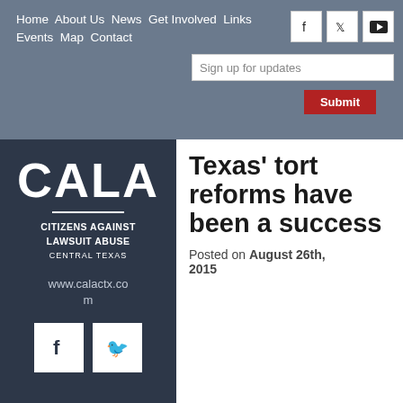Home  About Us  News  Get Involved  Links  Events  Map  Contact
[Figure (screenshot): Navigation bar with social icons (Facebook, Twitter, YouTube) and a Sign up for updates email input with Submit button]
[Figure (logo): CALA - Citizens Against Lawsuit Abuse Central Texas logo on dark background with website www.calactx.com and social media icons]
Texas' tort reforms have been a success
Posted on August 26th, 2015